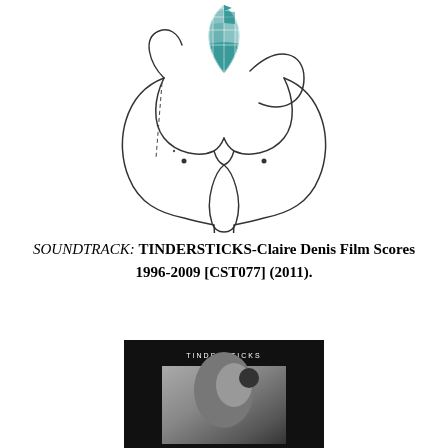[Figure (illustration): Line drawing illustration of an abstract rounded figure with a teal/blue diamond-patterned shape at the top center, resembling a stylized body form. The figure has loop-like outlines suggesting rounded forms and a dangling teardrop shape at the bottom center.]
SOUNDTRACK: TINDERSTICKS-Claire Denis Film Scores 1996-2009 [CST077] (2011).
[Figure (photo): Album cover photograph showing a dark/black background with 'TINDERSTICKS' text at top center in small white letters, and a black and white photo of a person below.]